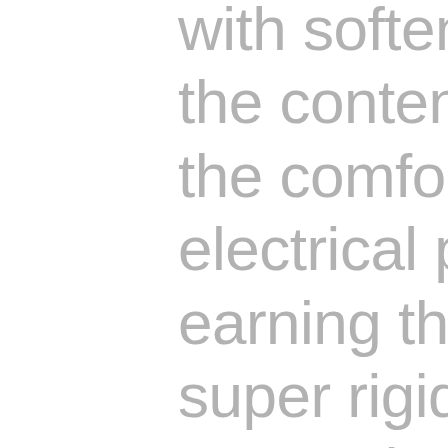with softening agents in the content to strengthen the comfort, really feel and electrical power devoid of earning the string bed super rigid. Unlike most textured co-polys, players will get a softer feeling throughout hitting and get rewarded with more spin many thanks to its six-sided profile. Players will really feel a much better relationship to the ball enabling them to remain in regulate of details. Whilst it presents a very good feeling on court, players will want to restring it just after about six-eight several hours of perform owing to the